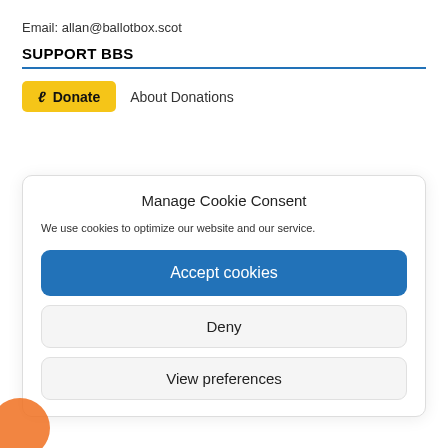Email: allan@ballotbox.scot
SUPPORT BBS
[Figure (other): Yellow donate button with Liberapay icon and 'About Donations' link text]
Manage Cookie Consent
We use cookies to optimize our website and our service.
Accept cookies
Deny
View preferences